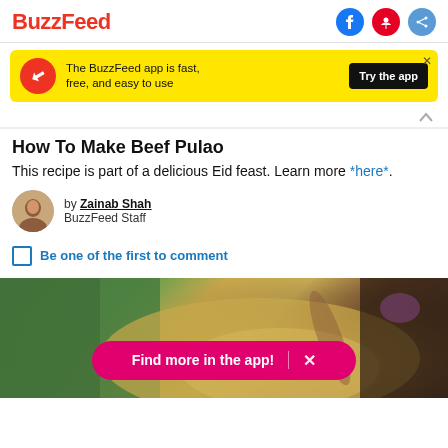BuzzFeed
[Figure (screenshot): Yellow ad banner: BuzzFeed app promotion with red circle logo, text 'The BuzzFeed app is fast, free, and easy to use', black 'Try the app' button, and X close button]
How To Make Beef Pulao
This recipe is part of a delicious Eid feast. Learn more *here*.
by Zainab Shah
BuzzFeed Staff
Be one of the first to comment
[Figure (photo): Food photo showing a rice dish (Beef Pulao) in a bowl with a wooden spoon, on a green patterned cloth. Overlaid pink pill-shaped banner: 'Find more in the app! X']